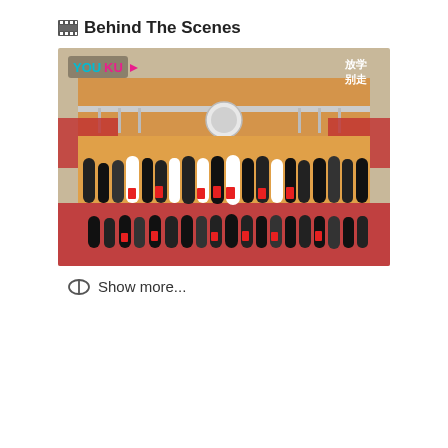Behind The Scenes
[Figure (photo): Group photo of a large cast and crew in front of a school building with red banner. Youku logo visible top-left, Chinese text top-right. People holding red items, standing and kneeling in rows on a red ground.]
Show more...